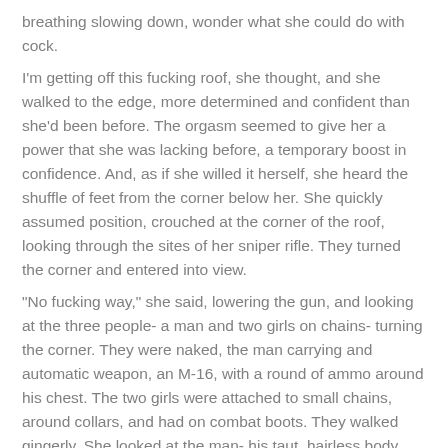breathing slowing down, wonder what she could do with cock.
I'm getting off this fucking roof, she thought, and she walked to the edge, more determined and confident than she'd been before. The orgasm seemed to give her a power that she was lacking before, a temporary boost in confidence. And, as if she willed it herself, she heard the shuffle of feet from the corner below her. She quickly assumed position, crouched at the corner of the roof, looking through the sites of her sniper rifle. They turned the corner and entered into view.
"No fucking way," she said, lowering the gun, and looking at the three people- a man and two girls on chains- turning the corner. They were naked, the man carrying and automatic weapon, an M-16, with a round of ammo around his chest. The two girls were attached to small chains, around collars, and had on combat boots. They walked gingerly. She looked at the man- his taut, hairless body, rippling in muscle- and, more importantly, his cock- a semi-hard beautiful piece of meat. She sited it through the rifle to get a better look. It was